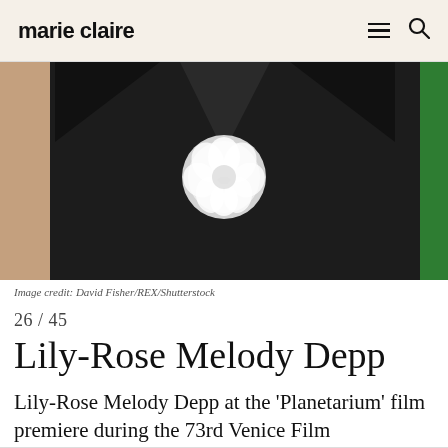marie claire
[Figure (photo): Close-up of a person wearing a black dress with a white tulle floral embellishment at the chest, with bare arms visible on the sides and a green element visible on the right edge.]
Image credit: David Fisher/REX/Shutterstock
26 / 45
Lily-Rose Melody Depp
Lily-Rose Melody Depp at the 'Planetarium' film premiere during the 73rd Venice Film